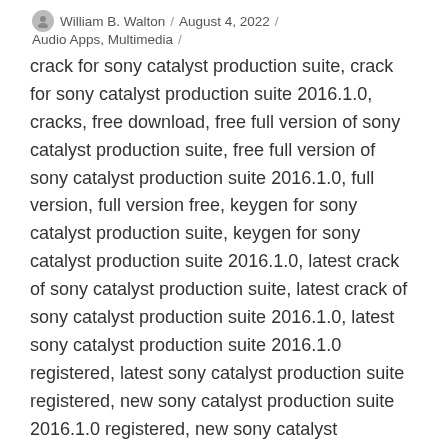William B. Walton / August 4, 2022 / Audio Apps, Multimedia
crack for sony catalyst production suite, crack for sony catalyst production suite 2016.1.0, cracks, free download, free full version of sony catalyst production suite, free full version of sony catalyst production suite 2016.1.0, full version, full version free, keygen for sony catalyst production suite, keygen for sony catalyst production suite 2016.1.0, latest crack of sony catalyst production suite, latest crack of sony catalyst production suite 2016.1.0, latest sony catalyst production suite 2016.1.0 registered, latest sony catalyst production suite registered, new sony catalyst production suite 2016.1.0 registered, new sony catalyst production suite registered, new version crack for sony catalyst production suite, new version crack for sony catalyst production suite 2016.1.0, patch for sony catalyst production suite, patch for sony catalyst production suite 2016.1.0, reg keys for sony catalyst production suite, reg keys for sony catalyst production suite 2016.1.0, register software, registered sony catalyst production suite, registered sony catalyst production suite 2016.1.0, serial keys for sony catalyst production suite, serial keys for sony catalyst production suite 2016.1.0, sony